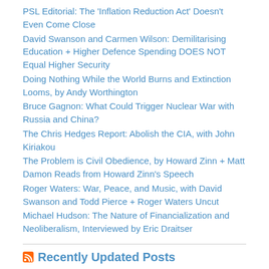PSL Editorial: The ‘Inflation Reduction Act’ Doesn’t Even Come Close
David Swanson and Carmen Wilson: Demilitarising Education + Higher Defence Spending DOES NOT Equal Higher Security
Doing Nothing While the World Burns and Extinction Looms, by Andy Worthington
Bruce Gagnon: What Could Trigger Nuclear War with Russia and China?
The Chris Hedges Report: Abolish the CIA, with John Kiriakou
The Problem is Civil Obedience, by Howard Zinn + Matt Damon Reads from Howard Zinn’s Speech
Roger Waters: War, Peace, and Music, with David Swanson and Todd Pierce + Roger Waters Uncut
Michael Hudson: The Nature of Financialization and Neoliberalism, Interviewed by Eric Draitser
Recently Updated Posts
Roger Waters: War, Peace, and Music, with David Swanson and Todd Pierce + Roger Waters Uncut